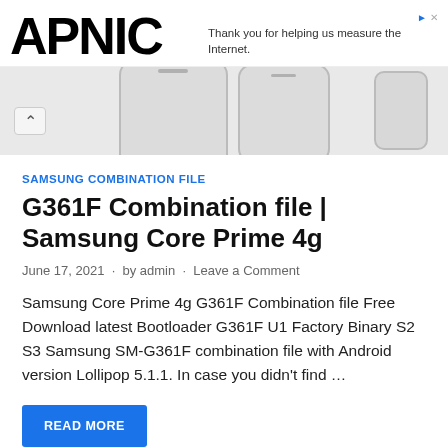APNIC — Thank you for helping us measure the Internet.
[Figure (photo): Partial view of Samsung smartphones from above, showing top edges and screens, on white background. A chevron/up-arrow button visible at left.]
SAMSUNG COMBINATION FILE
G361F Combination file | Samsung Core Prime 4g
June 17, 2021  ·  by admin  ·  Leave a Comment
Samsung Core Prime 4g G361F Combination file Free Download latest Bootloader G361F U1 Factory Binary S2 S3 Samsung SM-G361F combination file with Android version Lollipop 5.1.1. In case you didn't find …
READ MORE